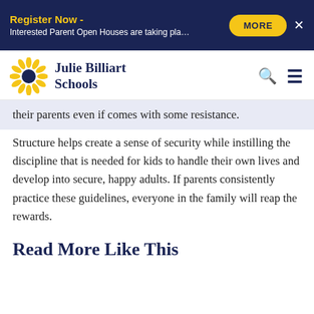Register Now - Interested Parent Open Houses are taking pla…
[Figure (logo): Julie Billiart Schools sunflower logo with school name]
their parents even if comes with some resistance. Structure helps create a sense of security while instilling the discipline that is needed for kids to handle their own lives and develop into secure, happy adults. If parents consistently practice these guidelines, everyone in the family will reap the rewards.
Read More Like This